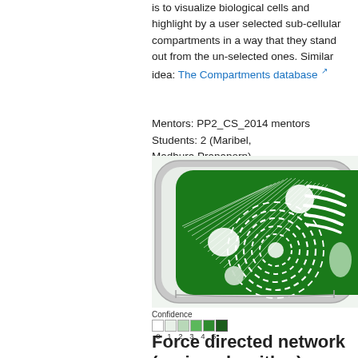is to visualize biological cells and highlight by a user selected sub-cellular compartments in a way that they stand out from the un-selected ones. Similar idea: The Compartments database [ext link]
Mentors: PP2_CS_2014 mentors
Students: 2 (Maribel, Madhura,Prapaporn)
[Figure (illustration): A stylized biological cell diagram showing a green plant cell with sub-cellular compartments. White dashed concentric circles mark the nucleus region, white lines/patterns indicate other organelles. A confidence scale (0-5) in green shades is shown below the image.]
Force directed network (spring algorithm), Graph Viewer